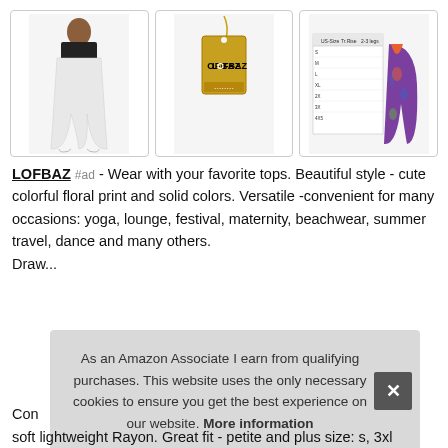[Figure (photo): Three product images: white harem pants worn by a model (back view), a gold clothing tag with LOFBAZ branding, and a size chart with a colorful patterned pants image]
LOFBAZ #ad - Wear with your favorite tops. Beautiful style - cute colorful floral print and solid colors. Versatile -convenient for many occasions: yoga, lounge, festival, maternity, beachwear, summer travel, dance and many others. Dra...
As an Amazon Associate I earn from qualifying purchases. This website uses the only necessary cookies to ensure you get the best experience on our website. More information
Con... soft lightweight Rayon. Great fit - petite and plus size: s, 3xl